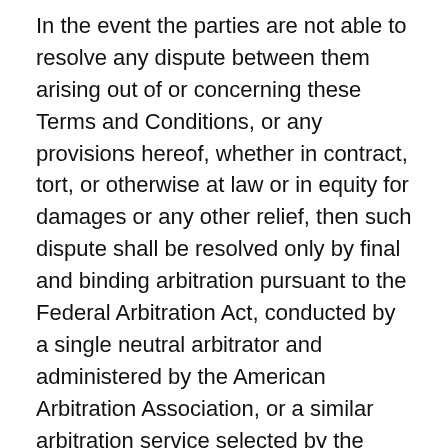In the event the parties are not able to resolve any dispute between them arising out of or concerning these Terms and Conditions, or any provisions hereof, whether in contract, tort, or otherwise at law or in equity for damages or any other relief, then such dispute shall be resolved only by final and binding arbitration pursuant to the Federal Arbitration Act, conducted by a single neutral arbitrator and administered by the American Arbitration Association, or a similar arbitration service selected by the parties, in a location mutually agreed upon by the parties. The arbitrator's award shall be final, and judgment may be entered upon it in any court having jurisdiction. In the event that any legal or equitable action, proceeding or arbitration arises out of or concerns these Terms and Conditions, the prevailing party shall be entitled to recover its costs and reasonable attorney's fees. The parties agree to arbitrate all disputes and claims in regards to these Terms and Conditions or any disputes arising as a result of these Terms and Conditions, whether directly or indirectly,